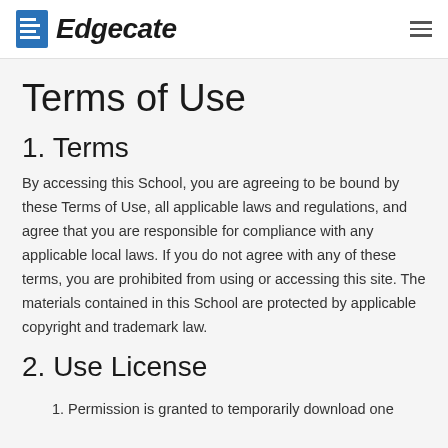Edgecate
Terms of Use
1. Terms
By accessing this School, you are agreeing to be bound by these Terms of Use, all applicable laws and regulations, and agree that you are responsible for compliance with any applicable local laws. If you do not agree with any of these terms, you are prohibited from using or accessing this site. The materials contained in this School are protected by applicable copyright and trademark law.
2. Use License
1. Permission is granted to temporarily download one